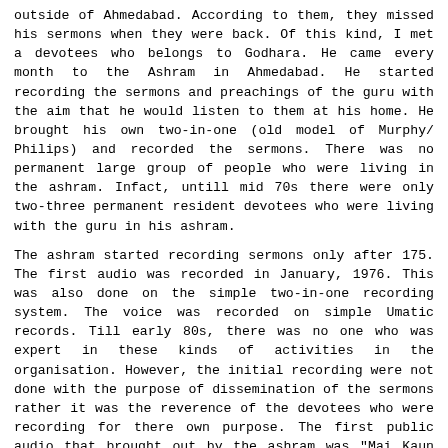outside of Ahmedabad. According to them, they missed his sermons when they were back. Of this kind, I met a devotees who belongs to Godhara. He came every month to the Ashram in Ahmedabad. He started recording the sermons and preachings of the guru with the aim that he would listen to them at his home. He brought his own two-in-one (old model of Murphy/ Philips) and recorded the sermons. There was no permanent large group of people who were living in the ashram. Infact, untill mid 70s there were only two-three permanent resident devotees who were living with the guru in his ashram.
The ashram started recording sermons only after 175. The first audio was recorded in January, 1976. This was also done on the simple two-in-one recording system. The voice was recorded on simple Umatic records. Till early 80s, there was no one who was expert in these kinds of activities in the organisation. However, the initial recording were not done with the purpose of dissemination of the sermons rather it was the reverence of the devotees who were recording for there own purpose. The first public audio that brought out by the ashram was "Mai Kaun Hoon" (Who I am?). Even today this is the largest selling cassette.
The ashram did not had any proper organisation. Even, the devotees lacked photograph of their guru. This was initiated by one of this oldest devotees. He brought a